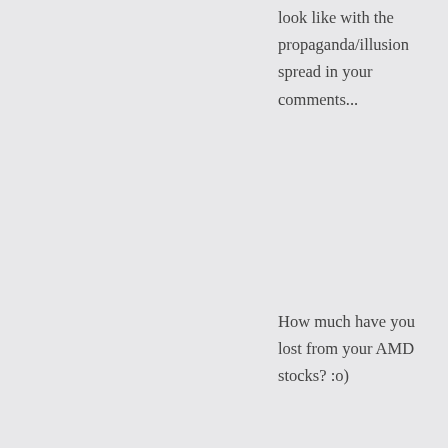look like with the propaganda/illusion spread in your comments...
How much have you lost from your AMD stocks? :o)
[Figure (illustration): Small avatar image of an animated fox/cartoon character face, green background square, angry expression]
Anonymous on April 30, 2016 at 11:01 pm
Goose egg on any Stock, and
Goose egg on any Stock, and that